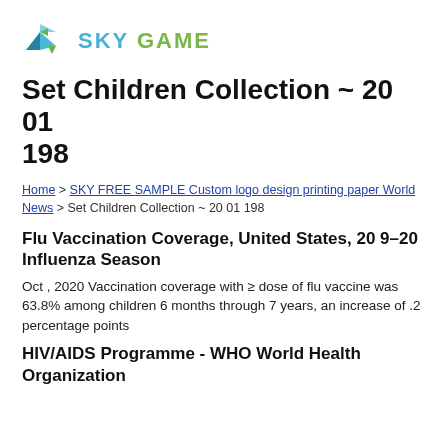[Figure (logo): SKY GAME logo with geometric bird icon in teal/blue and green colors, followed by text SKY GAME]
Set Children Collection ~ 20 01 198
Home > SKY FREE SAMPLE Custom logo design printing paper World News > Set Children Collection ~ 20 01 198
Flu Vaccination Coverage, United States, 20 9–20 Influenza Season
Oct , 2020 Vaccination coverage with ≥ dose of flu vaccine was 63.8% among children 6 months through 7 years, an increase of .2 percentage points
HIV/AIDS Programme - WHO World Health Organization